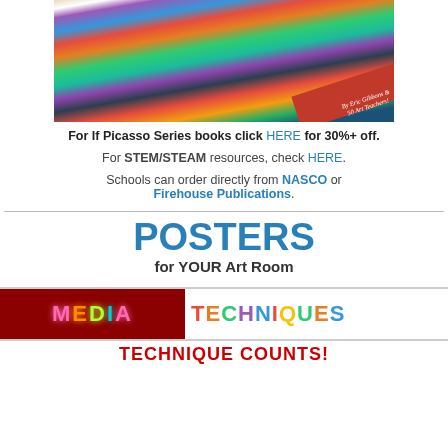[Figure (illustration): Colorful artistic book cover in the style of Picasso — vibrant cubist artwork on green background with red diagonal banner stripe. Text on stripe reads 'By Eric Gibbons & 50 Art Teachers!']
For If Picasso Series books click HERE for 30%+ off.
For STEM/STEAM resources, check HERE.
Schools can order directly from NASCO or Firehouse Publications.
POSTERS for YOUR Art Room
[Figure (illustration): Media Techniques banner: dark red left half with neon-styled 'MEDIA' text and white right half with colorful 'TECHNIQUES' letters in rainbow colors]
TECHNIQUE COUNTS!